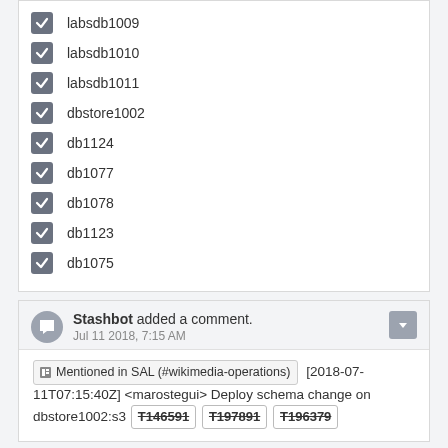labsdb1009
labsdb1010
labsdb1011
dbstore1002
db1124
db1077
db1078
db1123
db1075
Stashbot added a comment. Jul 11 2018, 7:15 AM
Mentioned in SAL (#wikimedia-operations) [2018-07-11T07:15:40Z] <marostegui> Deploy schema change on dbstore1002:s3 T146591 T197891 T196379
Marostegui updated the task description. (Show Details) Jul 11 2018, 7:18 AM